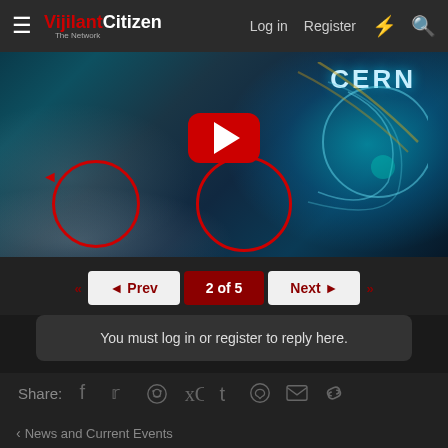VijilantCitizen — Log in  Register
[Figure (screenshot): YouTube video thumbnail with CERN text, cosmic swirl background, and two red circles highlighting faces/shapes in smoky area on left side. Red arrow pointing left. YouTube play button centered.]
◄ Prev  2 of 5  Next ►
You must log in or register to reply here.
Share:
< News and Current Events